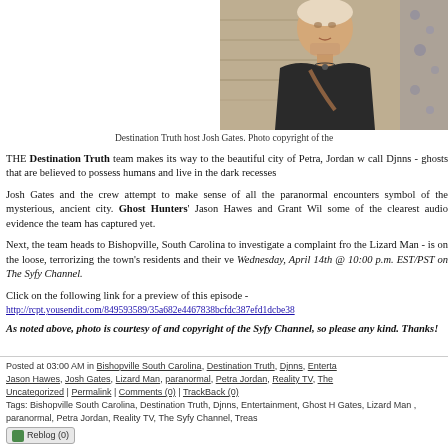[Figure (photo): Photo of Destination Truth host Josh Gates, a man with short hair wearing a dark jacket with a shoulder strap, standing against a stone wall background]
Destination Truth host Josh Gates. Photo copyright of the
THE Destination Truth team makes its way to the beautiful city of Petra, Jordan w call Djnns - ghosts that are believed to possess humans and live in the dark recesses
Josh Gates and the crew attempt to make sense of all the paranormal encounters symbol of the mysterious, ancient city. Ghost Hunters' Jason Hawes and Grant Wil some of the clearest audio evidence the team has captured yet.
Next, the team heads to Bishopville, South Carolina to investigate a complaint fro the Lizard Man - is on the loose, terrorizing the town's residents and their ve Wednesday, April 14th @ 10:00 p.m. EST/PST on The Syfy Channel.
Click on the following link for a preview of this episode - http://rcpt.yousendit.com/849593589/35a682e4467838bcfdc387efd1dcbe38
As noted above, photo is courtesy of and copyright of the Syfy Channel, so please any kind. Thanks!
Posted at 03:00 AM in Bishopville South Carolina, Destination Truth, Djnns, Enterta Jason Hawes, Josh Gates, Lizard Man, paranormal, Petra Jordan, Reality TV, The Uncategorized | Permalink | Comments (0) | TrackBack (0) Tags: Bishopville South Carolina, Destination Truth, Djnns, Entertainment, Ghost H Gates, Lizard Man , paranormal, Petra Jordan, Reality TV, The Syfy Channel, Treas